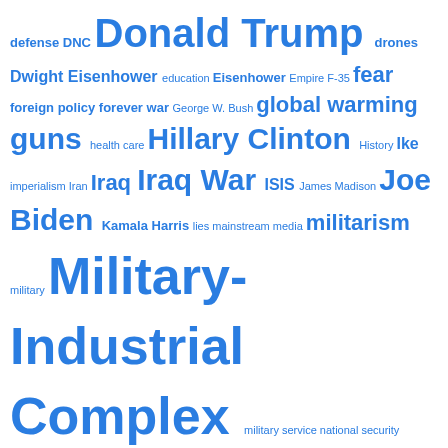[Figure (infographic): A tag/word cloud in blue text featuring political and military terms at varying font sizes indicating frequency/importance. Terms include Donald Trump (very large), Military-Industrial Complex (very large), Pentagon (very large), Trump (very large), Hillary Clinton (large), Iraq War (large), Joe Biden (large), Nuclear Weapons (large), Obama (large), presidential election 2016 (large), Trump Administration (large), Vietnam War (large), and many smaller terms.]